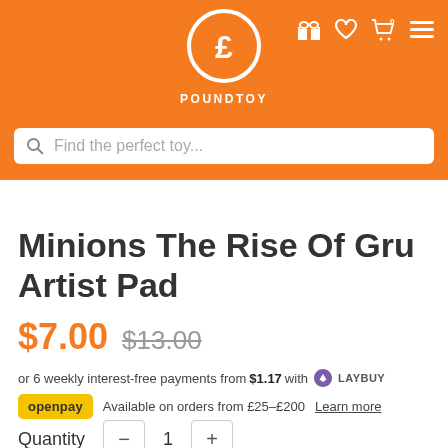[Figure (logo): PoundToy orange header with pound sign logo circle, brand name POUNDTOY, and navigation icons (gift, heart, cart, menu)]
[Figure (screenshot): Search bar with magnifying glass icon and placeholder text 'Find the perfect toy...']
Minions The Rise Of Gru Artist Pad
$7.00  $13.00
or 6 weekly interest-free payments from $1.17 with  LAY BUY  what's this?
openpay  Available on orders from £25–£200  Learn more
Quantity  −  1  +